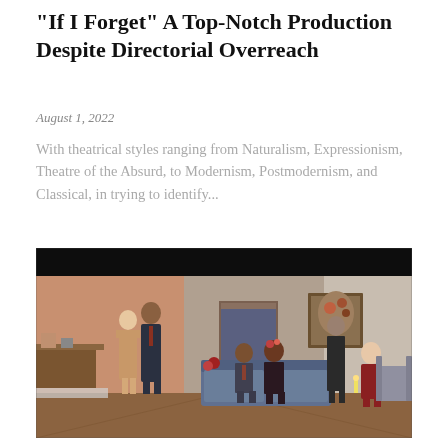"If I Forget" A Top-Notch Production Despite Directorial Overreach
August 1, 2022
With theatrical styles ranging from Naturalism, Expressionism, Theatre of the Absurd, to Modernism, Postmodernism, and Classical, in trying to identify...
[Figure (photo): A theatrical production photo showing six actors on a detailed stage set resembling a living room, with warm peach and gray walls, a doorway, a couch with two seated actors, two actors standing, and a couple standing to the left near a side table.]